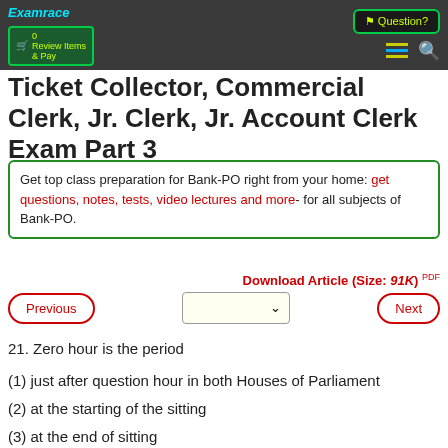Examrace | Review Items & Pay | Question?
Ticket Collector, Commercial Clerk, Jr. Clerk, Jr. Account Clerk Exam Part 3
Get top class preparation for Bank-PO right from your home: get questions, notes, tests, video lectures and more- for all subjects of Bank-PO.
Download Article (Size: 91K) PDF
Previous | [dropdown] | Next
21. Zero hour is the period
(1) just after question hour in both Houses of Parliament
(2) at the starting of the sitting
(3) at the end of sitting
(4) None of the above